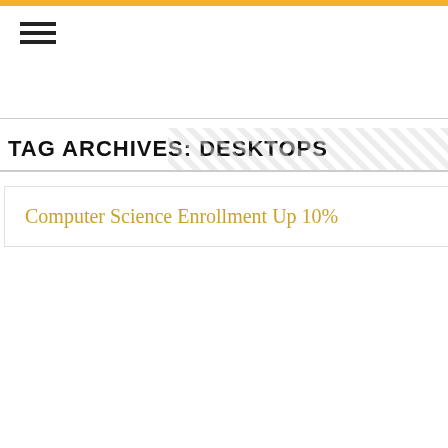TAG ARCHIVES: DESKTOPS
Computer Science Enrollment Up 10%